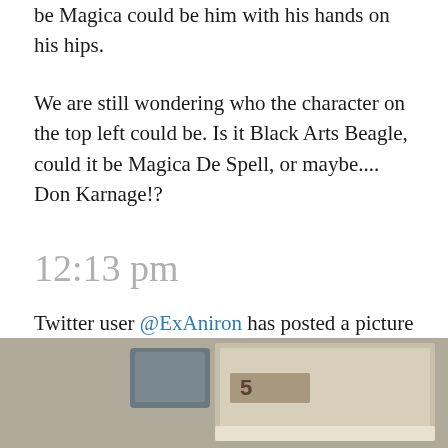be Magica could be him with his hands on his hips.
We are still wondering who the character on the top left could be. Is it Black Arts Beagle, could it be Magica De Spell, or maybe.... Don Karnage!?
12:13 pm
Twitter user @ExAniron has posted a picture of the Spear of Selene without the PhatMojo logo, and there is a mysterious box behind it...
[Figure (photo): A photo showing the Spear of Selene toy/item with a mysterious box behind it, partially cropped at bottom of page.]